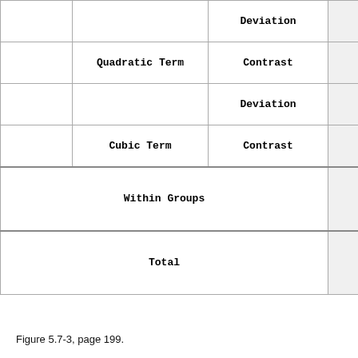|  |  | Deviation |  |
|  | Quadratic Term | Contrast |  |
|  |  | Deviation |  |
|  | Cubic Term | Contrast |  |
|  | Within Groups |  |  |
|  | Total |  |  |
Figure 5.7-3, page 199.